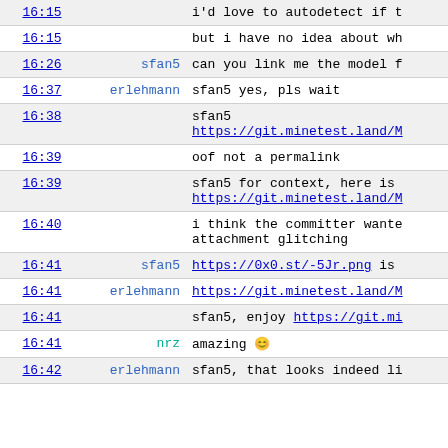| time | user | message |
| --- | --- | --- |
| 16:15 |  | i'd love to autodetect if t… |
| 16:15 |  | but i have no idea about wh… |
| 16:26 | sfan5 | can you link me the model f… |
| 16:37 | erlehmann | sfan5 yes, pls wait |
| 16:38 |  | sfan5
https://git.minetest.land/M… |
| 16:39 |  | oof not a permalink |
| 16:39 |  | sfan5 for context, here is …
https://git.minetest.land/M… |
| 16:40 |  | i think the committer wante…
attachment glitching |
| 16:41 | sfan5 | https://0x0.st/-5Jr.png is … |
| 16:41 | erlehmann | https://git.minetest.land/M… |
| 16:41 |  | sfan5, enjoy https://git.mi… |
| 16:41 | nrz | amazing 😊 |
| 16:42 | erlehmann | sfan5, that looks indeed li… |